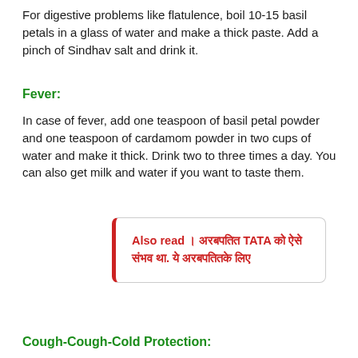For digestive problems like flatulence, boil 10-15 basil petals in a glass of water and make a thick paste. Add a pinch of Sindhav salt and drink it.
Fever:
In case of fever, add one teaspoon of basil petal powder and one teaspoon of cardamom powder in two cups of water and make it thick. Drink two to three times a day. You can also get milk and water if you want to taste them.
Also read । अरबपति TATA को ऐसे संभव था. ये अरबपतितके लिए
Cough-Cough-Cold Protection: